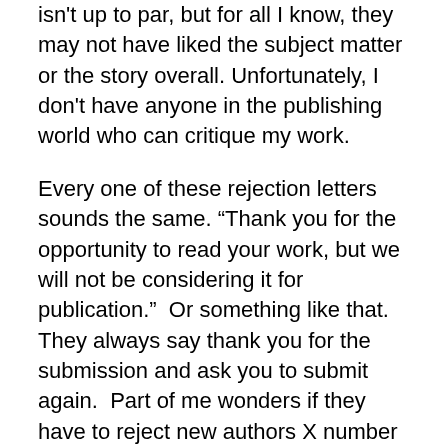isn't up to par, but for all I know, they may not have liked the subject matter or the story overall. Unfortunately, I don't have anyone in the publishing world who can critique my work.
Every one of these rejection letters sounds the same. “Thank you for the opportunity to read your work, but we will not be considering it for publication.”  Or something like that.  They always say thank you for the submission and ask you to submit again.  Part of me wonders if they have to reject new authors X number of times before they will publish something.  It doesn't matter because it causes me to continue growing and improving as a writer.  Eventually, I'll write something they want to publish.
I now want to share a list of the many stories I've written and the publishers that rejected them. This is not a dig on the publishers. I want other writers to see who I've